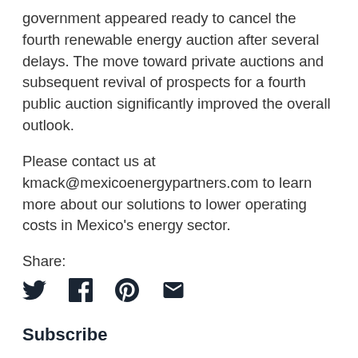government appeared ready to cancel the fourth renewable energy auction after several delays. The move toward private auctions and subsequent revival of prospects for a fourth public auction significantly improved the overall outlook.
Please contact us at kmack@mexicoenergypartners.com to learn more about our solutions to lower operating costs in Mexico's energy sector.
Share:
[Figure (illustration): Social share icons: Twitter (bird), Facebook (f), Pinterest (P), Email (envelope)]
Subscribe